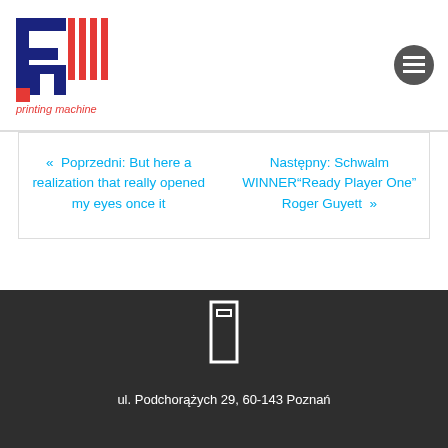[Figure (logo): Printing Machine logo - PM letters in red and dark blue with vertical lines, text 'printing machine' below]
« Poprzedni: But here a realization that really opened my eyes once it
Następny: Schwalm WINNER"Ready Player One" Roger Guyett »
[Figure (logo): Small white/outline PM logo in footer]
ul. Podchorążych 29, 60-143 Poznań